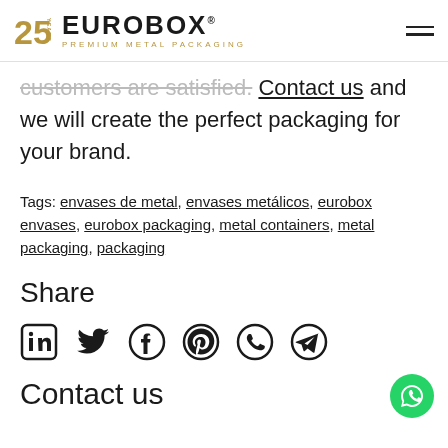EUROBOX PREMIUM METAL PACKAGING
customers are satisfied. Contact us and we will create the perfect packaging for your brand.
Tags: envases de metal, envases metálicos, eurobox envases, eurobox packaging, metal containers, metal packaging, packaging
Share
[Figure (infographic): Social media share icons row: LinkedIn, Twitter, Facebook, Pinterest, WhatsApp, Telegram]
Contact us